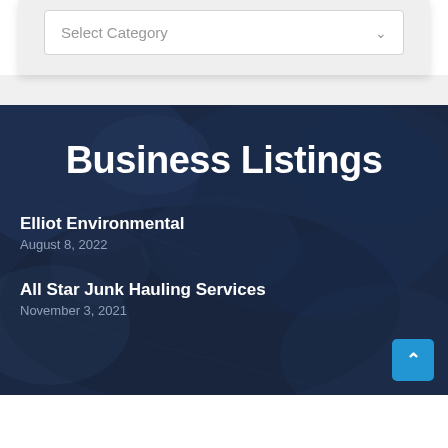[Figure (screenshot): A dropdown selector UI element with label 'Select Category' and a chevron arrow, on a light gray background panel with shadow.]
Business Listings
Elliot Environmental
August 8, 2022
All Star Junk Hauling Services
November 3, 2021